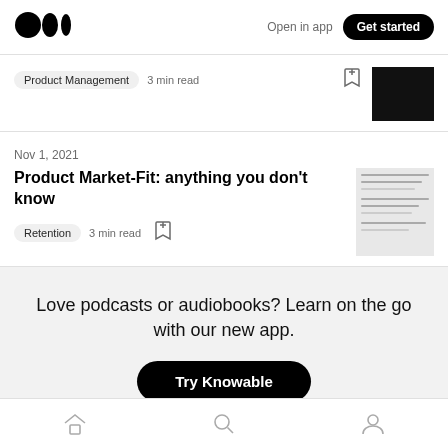Medium logo | Open in app | Get started
Product Management  3 min read
Nov 1, 2021
Product Market-Fit: anything you don't know
Retention  3 min read
Love podcasts or audiobooks? Learn on the go with our new app.
Try Knowable
Home | Search | Profile